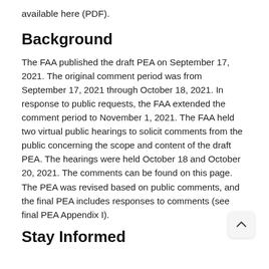available here (PDF).
Background
The FAA published the draft PEA on September 17, 2021. The original comment period was from September 17, 2021 through October 18, 2021. In response to public requests, the FAA extended the comment period to November 1, 2021. The FAA held two virtual public hearings to solicit comments from the public concerning the scope and content of the draft PEA. The hearings were held October 18 and October 20, 2021. The comments can be found on this page. The PEA was revised based on public comments, and the final PEA includes responses to comments (see final PEA Appendix I).
Stay Informed